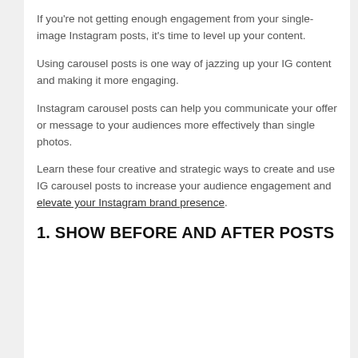If you're not getting enough engagement from your single-image Instagram posts, it's time to level up your content.
Using carousel posts is one way of jazzing up your IG content and making it more engaging.
Instagram carousel posts can help you communicate your offer or message to your audiences more effectively than single photos.
Learn these four creative and strategic ways to create and use IG carousel posts to increase your audience engagement and elevate your Instagram brand presence.
1. SHOW BEFORE AND AFTER POSTS